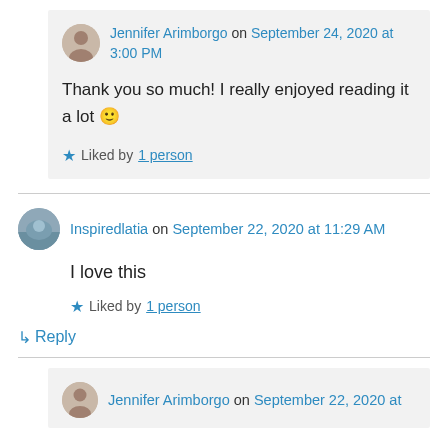Jennifer Arimborgo on September 24, 2020 at 3:00 PM
Thank you so much! I really enjoyed reading it a lot 🙂
Liked by 1 person
Inspiredlatia on September 22, 2020 at 11:29 AM
I love this
Liked by 1 person
↳ Reply
Jennifer Arimborgo on September 22, 2020 at